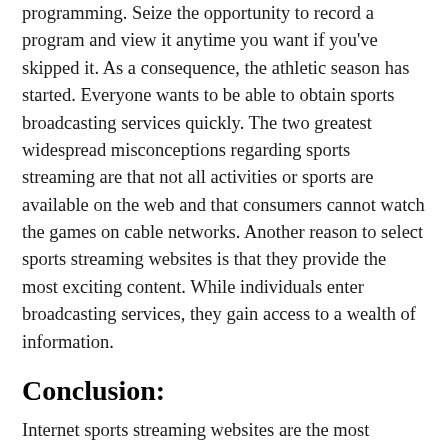programming. Seize the opportunity to record a program and view it anytime you want if you've skipped it. As a consequence, the athletic season has started. Everyone wants to be able to obtain sports broadcasting services quickly. The two greatest widespread misconceptions regarding sports streaming are that not all activities or sports are available on the web and that consumers cannot watch the games on cable networks. Another reason to select sports streaming websites is that they provide the most exciting content. While individuals enter broadcasting services, they gain access to a wealth of information.
Conclusion:
Internet sports streaming websites are the most available venues on the internet. People may watch a range of sports in real-time on web-based sports streaming services. Viewers could now enjoy video broadcasting of various athletic events due to internet sports streaming providers. It is well-known